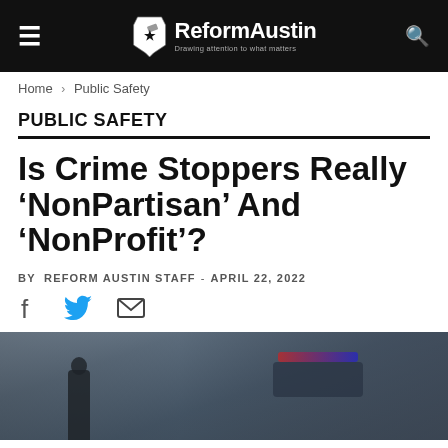ReformAustin — Drawing attention to what matters
Home › Public Safety
PUBLIC SAFETY
Is Crime Stoppers Really 'NonPartisan' And 'NonProfit'?
BY REFORM AUSTIN STAFF - APRIL 22, 2022
[Figure (photo): Police officer standing near a police vehicle with emergency lights, blurred background]
[Figure (logo): ReformAustin logo with Texas state outline icon and tagline 'Drawing attention to what matters']